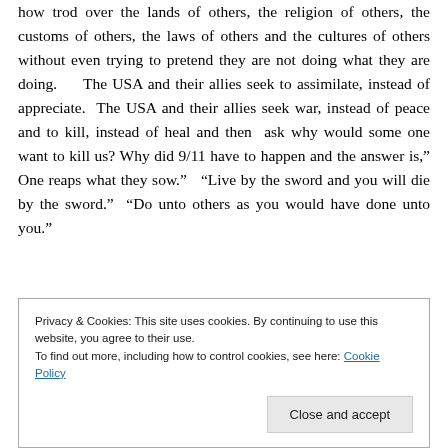how trod over the lands of others, the religion of others, the customs of others, the laws of others and the cultures of others without even trying to pretend they are not doing what they are doing.    The USA and their allies seek to assimilate, instead of appreciate.  The USA and their allies seek war, instead of peace and to kill, instead of heal and then  ask why would some one want to kill us? Why did 9/11 have to happen and the answer is," One reaps what they sow."   "Live by the sword and you will die by the sword."  "Do unto others as you would have done unto you."
Privacy & Cookies: This site uses cookies. By continuing to use this website, you agree to their use.
To find out more, including how to control cookies, see here: Cookie Policy
Close and accept
leaders see a terrorist threat around every corner.  The